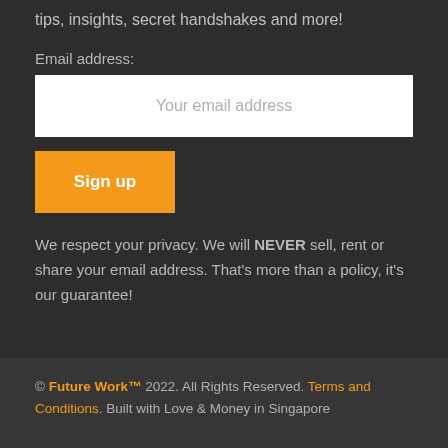tips, insights, secret handshakes and more!
Email address:
Your email address
[Figure (other): Orange 'Sign up' button]
We respect your privacy. We will NEVER sell, rent or share your email address. That's more than a policy, it's our guarantee!
© Future Work™ 2022. All Rights Reserved. Terms and Conditions. Built with Love & Money in Singapore